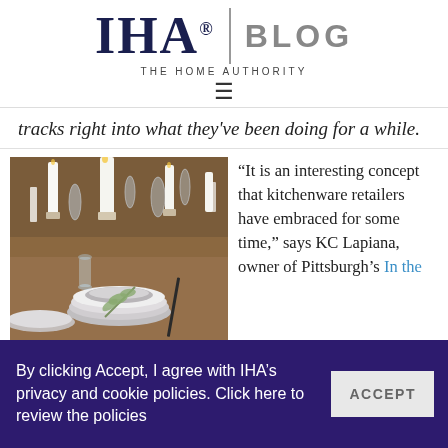IHA. BLOG THE HOME AUTHORITY
tracks right into what they've been doing for a while.
[Figure (photo): Elegantly set dining table with white candles, glassware, gray plates, and greenery on a wooden table.]
“It is an interesting concept that kitchenware retailers have embraced for some time,” says KC Lapiana, owner of Pittsburgh’s In the
By clicking Accept, I agree with IHA’s privacy and cookie policies. Click here to review the policies